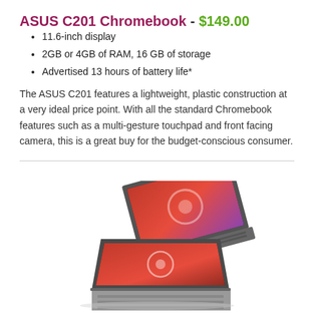ASUS C201 Chromebook - $149.00
11.6-inch display
2GB or 4GB of RAM, 16 GB of storage
Advertised 13 hours of battery life*
The ASUS C201 features a lightweight, plastic construction at a very ideal price point. With all the standard Chromebook features such as a multi-gesture touchpad and front facing camera, this is a great buy for the budget-conscious consumer.
[Figure (photo): ASUS C201 Chromebook shown open at various angles, displaying the keyboard and screen in a folded/tent configuration]